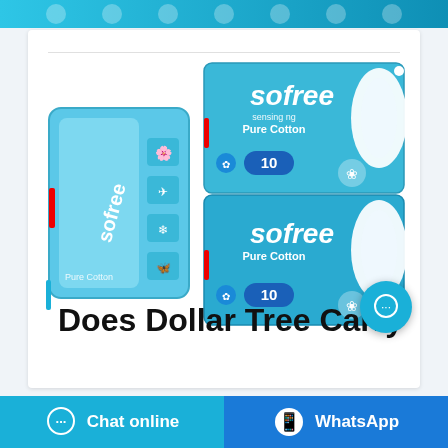[Figure (photo): Top decorative banner with light blue gradient and circular dot pattern]
[Figure (photo): Sofree Pure Cotton sanitary pads product images — left: compact travel pack in blue wrapper with Sofree logo and icons; right: two stacked standard packs of Sofree Pure Cotton pads, each labeled '10', in blue packaging]
Does Dollar Tree Carry
[Figure (other): Floating cyan chat bubble icon (…) in bottom-right area]
Chat online
WhatsApp